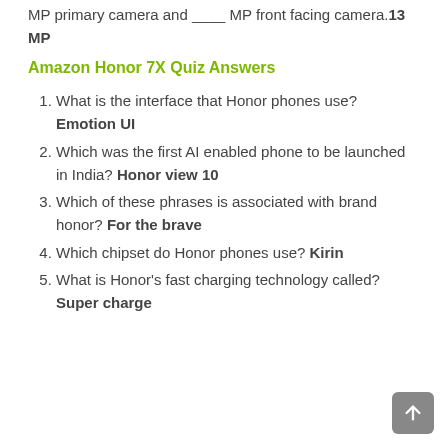MP primary camera and ____ MP front facing camera. 13 MP
Amazon Honor 7X Quiz Answers
What is the interface that Honor phones use? Emotion UI
Which was the first AI enabled phone to be launched in India? Honor view 10
Which of these phrases is associated with brand honor? For the brave
Which chipset do Honor phones use? Kirin
What is Honor's fast charging technology called? Super charge